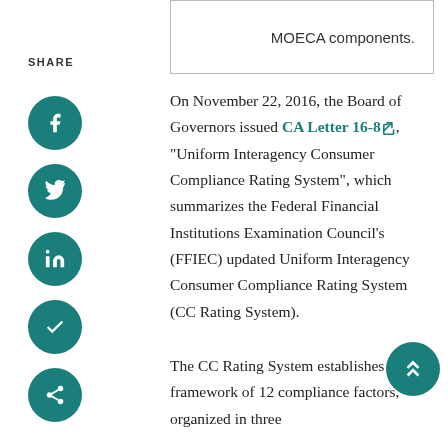MOECA components.
SHARE
[Figure (other): Social share icons: Facebook, Twitter, LinkedIn, Bookmark, Share — teal circular buttons on left sidebar]
On November 22, 2016, the Board of Governors issued CA Letter 16-8, "Uniform Interagency Consumer Compliance Rating System", which summarizes the Federal Financial Institutions Examination Council's (FFIEC) updated Uniform Interagency Consumer Compliance Rating System (CC Rating System).
The CC Rating System establishes a framework of 12 compliance factors, organized in three